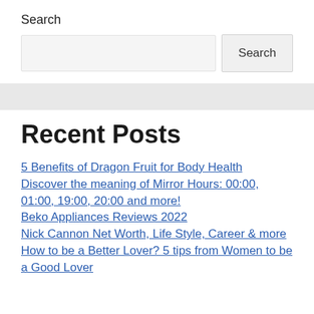Search
Search [input field] Search [button]
Recent Posts
5 Benefits of Dragon Fruit for Body Health
Discover the meaning of Mirror Hours: 00:00, 01:00, 19:00, 20:00 and more!
Beko Appliances Reviews 2022
Nick Cannon Net Worth, Life Style, Career & more
How to be a Better Lover? 5 tips from Women to be a Good Lover